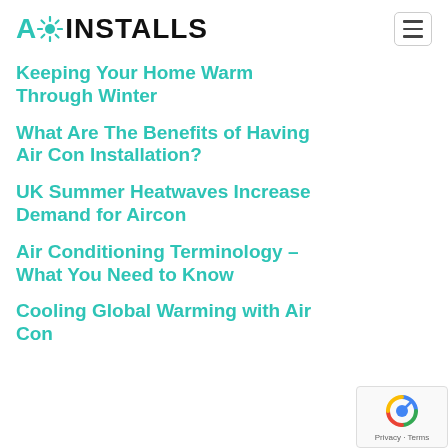A☀ INSTALLS
Keeping Your Home Warm Through Winter
What Are The Benefits of Having Air Con Installation?
UK Summer Heatwaves Increase Demand for Aircon
Air Conditioning Terminology – What You Need to Know
Cooling Global Warming with Air Con